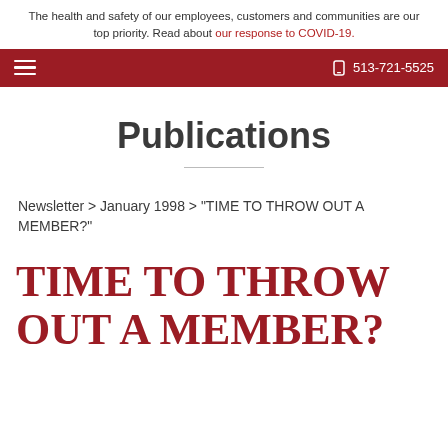The health and safety of our employees, customers and communities are our top priority. Read about our response to COVID-19.
☰  513-721-5525
Publications
Newsletter > January 1998 > "TIME TO THROW OUT A MEMBER?"
TIME TO THROW OUT A MEMBER?